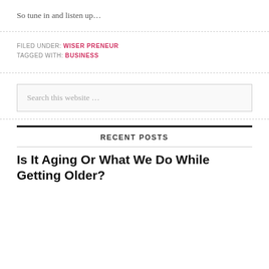So tune in and listen up…
FILED UNDER: WISER PRENEUR
TAGGED WITH: BUSINESS
Search this website …
RECENT POSTS
Is It Aging Or What We Do While Getting Older?